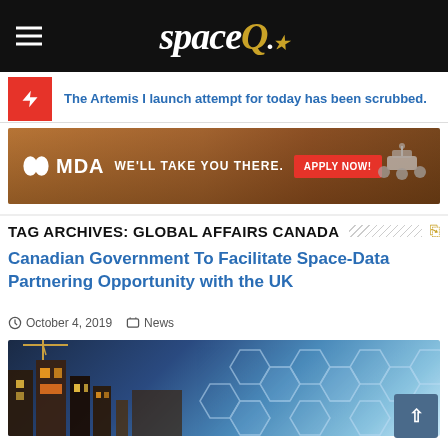spaceQ
The Artemis I launch attempt for today has been scrubbed.
[Figure (photo): MDA advertisement banner: 'MDA WE'LL TAKE YOU THERE. APPLY NOW!' with Mars rover image]
TAG ARCHIVES: GLOBAL AFFAIRS CANADA
Canadian Government To Facilitate Space-Data Partnering Opportunity with the UK
October 4, 2019   News
[Figure (photo): Article thumbnail showing city buildings overlaid with digital hexagon network graphic]